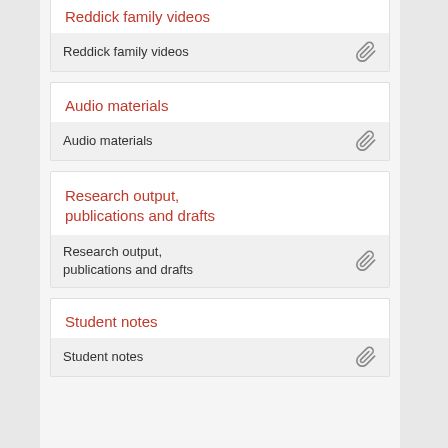Reddick family videos
Reddick family videos
Audio materials
Audio materials
Research output, publications and drafts
Research output, publications and drafts
Student notes
Student notes